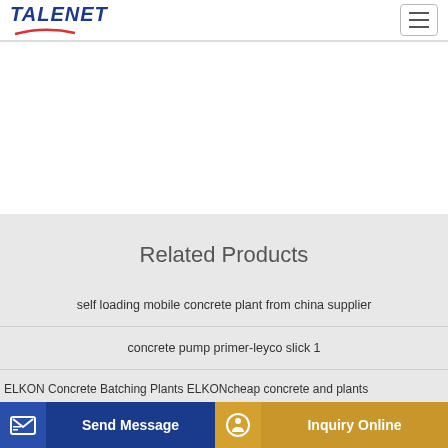TALENET
Related Products
self loading mobile concrete plant from china supplier
concrete pump primer-leyco slick 1
ELKON Concrete Batching Plants ELKONcheap concrete and plants
Over 30 years in the Concrete Pumping industry I am going to
Send Message | Inquiry Online